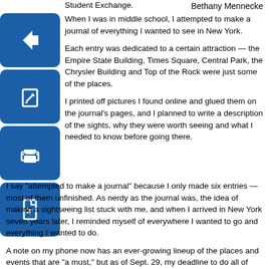Student Exchange.
Bethany Mennecke
[Figure (illustration): Blue square icon with white left-arrow (back navigation button)]
[Figure (illustration): Blue square icon with white edit/pencil icon]
[Figure (illustration): Blue square icon with white printer icon]
[Figure (illustration): Blue square icon with white PDF/document icon]
When I was in middle school, I attempted to make a journal of everything I wanted to see in New York.
Each entry was dedicated to a certain attraction — the Empire State Building, Times Square, Central Park, the Chrysler Building and Top of the Rock were just some of the places.
I printed off pictures I found online and glued them on the journal's pages, and I planned to write a description of the sights, why they were worth seeing and what I needed to know before going there.
I say "attempted to make a journal" because I only made six entries — most of them unfinished. As nerdy as the journal was, the idea of making a sightseeing list stuck with me, and when I arrived in New York seven years later, I reminded myself of everywhere I wanted to go and everything I wanted to do.
A note on my phone now has an ever-growing lineup of the places and events that are "a must," but as of Sept. 29, my deadline to do all of these things is fast-approaching: Dec. 14 — the day I fly back to Wisconsin. So, on any day my friends and I are free, we explore every part of the city we can.